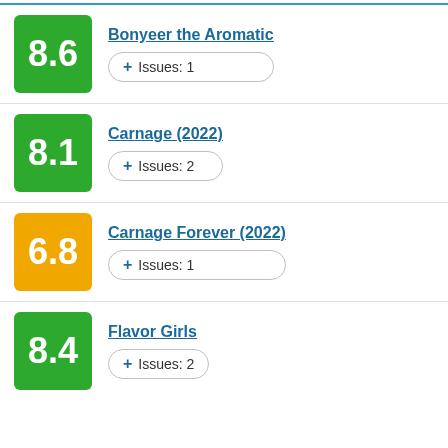Bonyeer the Aromatic | 8.6 | Issues: 1
Carnage (2022) | 8.1 | Issues: 2
Carnage Forever (2022) | 6.8 | Issues: 1
Flavor Girls | 8.4 | Issues: 2